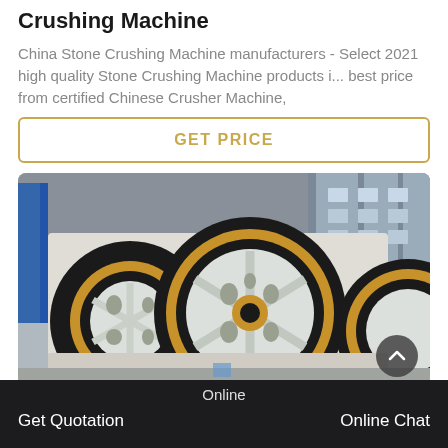Crushing Machine
China Stone Crushing Machine manufacturers - Select 2021 high quality Stone Crushing Machine products i... best price from certified Chinese Crusher Machine,
GET PRICE
[Figure (photo): Industrial jaw crusher machines with large black and yellow flywheel discs in a factory setting]
Get Quotation   Online   Online Chat